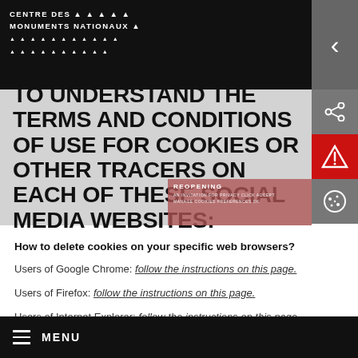CENTRE DES MONUMENTS NATIONAUX
TO UNDERSTAND THE TERMS AND CONDITIONS OF USE FOR COOKIES OR OTHER TRACERS ON EACH OF THESE SOCIAL MEDIA WEBSITES:
How to delete cookies on your specific web browsers?
Users of Google Chrome: follow the instructions on this page.
Users of Firefox: follow the instructions on this page.
Users of Internet Explorer: follow the instructions on this page.
MENU